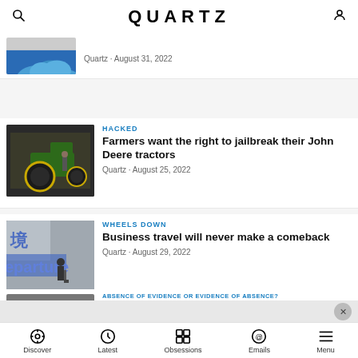QUARTZ
Quartz · August 31, 2022
HACKED
Farmers want the right to jailbreak their John Deere tractors
Quartz · August 25, 2022
WHEELS DOWN
Business travel will never make a comeback
Quartz · August 29, 2022
ABSENCE OF EVIDENCE OR EVIDENCE OF ABSENCE?
It took two years for the WHO to admit covid is airborne. The reason is rooted in
Discover | Latest | Obsessions | Emails | Menu